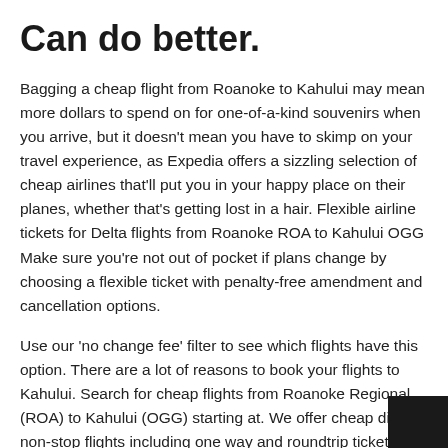Can do better.
Bagging a cheap flight from Roanoke to Kahului may mean more dollars to spend on for one-of-a-kind souvenirs when you arrive, but it doesn't mean you have to skimp on your travel experience, as Expedia offers a sizzling selection of cheap airlines that'll put you in your happy place on their planes, whether that's getting lost in a hair. Flexible airline tickets for Delta flights from Roanoke ROA to Kahului OGG Make sure you're not out of pocket if plans change by choosing a flexible ticket with penalty-free amendment and cancellation options.
Use our 'no change fee' filter to see which flights have this option. There are a lot of reasons to book your flights to Kahului. Search for cheap flights from Roanoke Regional (ROA) to Kahului (OGG) starting at. We offer cheap direct, non-stop flights including one way and roundtrip tickets. Search Kahului flights on KAYAK. Find cheap tickets to Kahului from Roanoke. KAYAK searches hundreds of travel sites to help you find cheap airfare and bo